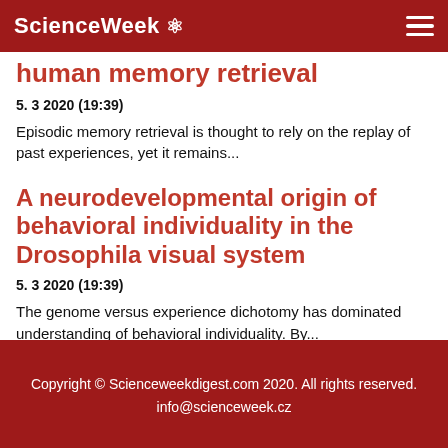ScienceWeek ⚛
human memory retrieval
5. 3 2020 (19:39)
Episodic memory retrieval is thought to rely on the replay of past experiences, yet it remains...
A neurodevelopmental origin of behavioral individuality in the Drosophila visual system
5. 3 2020 (19:39)
The genome versus experience dichotomy has dominated understanding of behavioral individuality. By...
Copyright © Scienceweekdigest.com 2020. All rights reserved.
info@scienceweek.cz